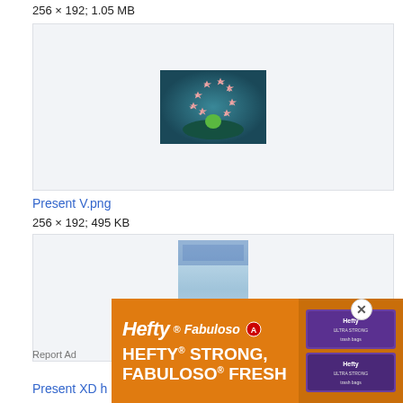256 × 192; 1.05 MB
[Figure (screenshot): Game screenshot showing a green character on a dark oval platform with star-shaped sparkles, teal background]
Present V.png
256 × 192; 495 KB
[Figure (screenshot): Game screenshot showing a laboratory or arena scene with blue and white tones]
Report Ad
[Figure (infographic): Hefty Fabuloso advertisement banner: HEFTY® STRONG, FABULOSO® FRESH with product images]
Present XD h